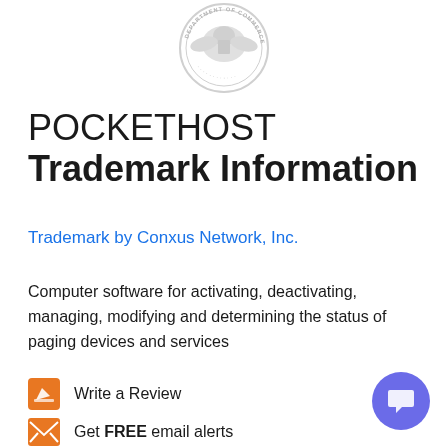[Figure (logo): US Department of Commerce seal/logo, circular emblem in light gray at top center]
POCKETHOST Trademark Information
Trademark by Conxus Network, Inc.
Computer software for activating, deactivating, managing, modifying and determining the status of paging devices and services
Write a Review
Get FREE email alerts